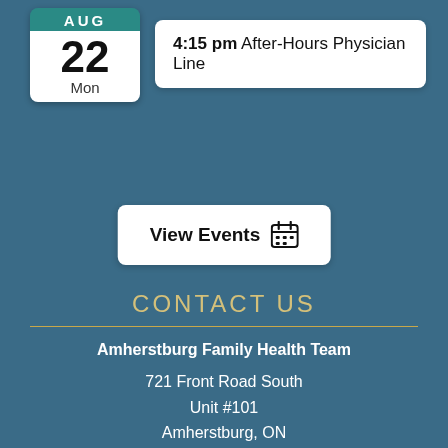[Figure (other): Calendar icon showing AUG 22 Mon]
4:15 pm After-Hours Physician Line
View Events
CONTACT US
Amherstburg Family Health Team
721 Front Road South
Unit #101
Amherstburg, ON
N9V 2M4